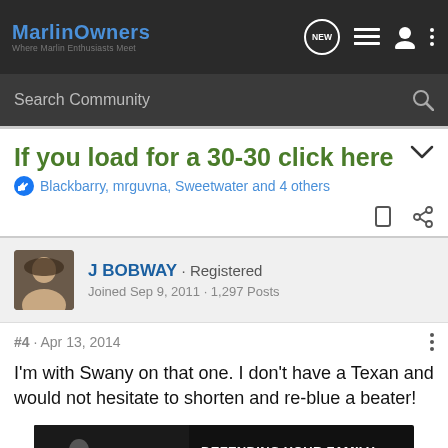MarlinOwners — Where Marlin Enthusiasts Meet
Search Community
If you load for a 30-30 click here
Blackbarry, mrguvna, Sweetwater and 4 others
J BOBWAY · Registered
Joined Sep 9, 2011 · 1,297 Posts
#4 · Apr 13, 2014
I'm with Swany on that one. I don't have a Texan and would not hesitate to shorten and re-blue a beater!
[Figure (photo): Advertisement banner: woman aiming rifle, text reads DEFENDING YOUR FAMILY. DEFENDING YOUR HOME.]